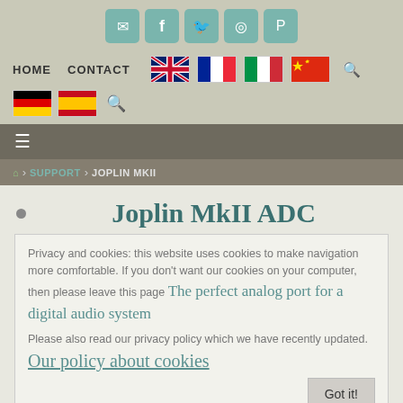[Figure (screenshot): Website header with social media icon buttons (email, facebook, twitter, instagram, pinterest) on teal rounded square buttons]
HOME   CONTACT   [UK flag] [FR flag] [IT flag] [CN flag] [DE flag] [ES flag] [search]
≡ (hamburger menu)
🏠 > SUPPORT > JOPLIN MKII
Joplin MkII ADC
The perfect analog port for a digital audio system
Privacy and cookies: this website uses cookies to make navigation more comfortable. If you don't want our cookies on your computer, then please leave this page now, and the information above will be ignored.
Please also read our privacy policy which we have recently updated. Our policy about cookies
Got it!